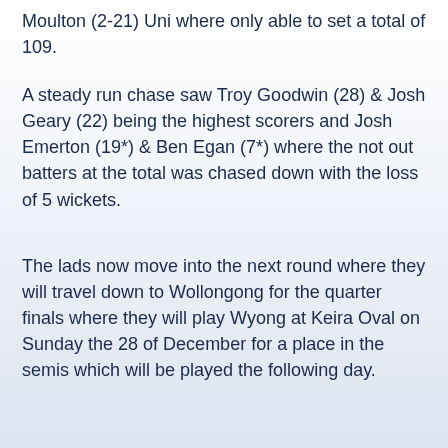Moulton (2-21) Uni where only able to set a total of 109.
A steady run chase saw Troy Goodwin (28) & Josh Geary (22) being the highest scorers and Josh Emerton (19*) & Ben Egan (7*) where the not out batters at the total was chased down with the loss of 5 wickets.
The lads now move into the next round where they will travel down to Wollongong for the quarter finals where they will play Wyong at Keira Oval on Sunday the 28 of December for a place in the semis which will be played the following day.